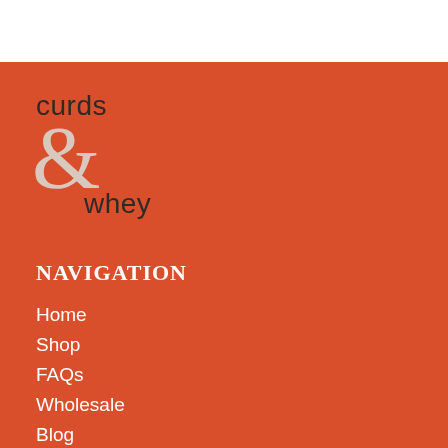[Figure (logo): Curds & Whey logo with ampersand on orange background]
NAVIGATION
Home
Shop
FAQs
Wholesale
Blog
About Us